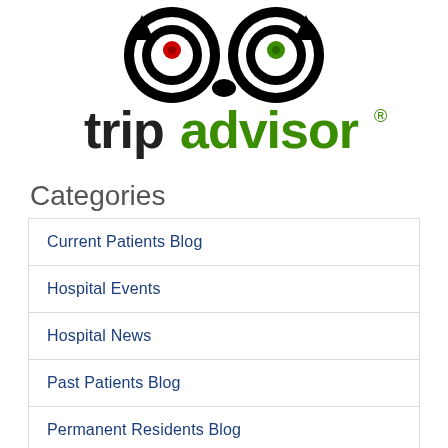[Figure (logo): TripAdvisor logo with owl icon (two circles with red and green dots as eyes) and the word 'tripadvisor' with 'trip' in black and 'advisor' in green, followed by a registered trademark symbol]
Categories
Current Patients Blog
Hospital Events
Hospital News
Past Patients Blog
Permanent Residents Blog
Releases